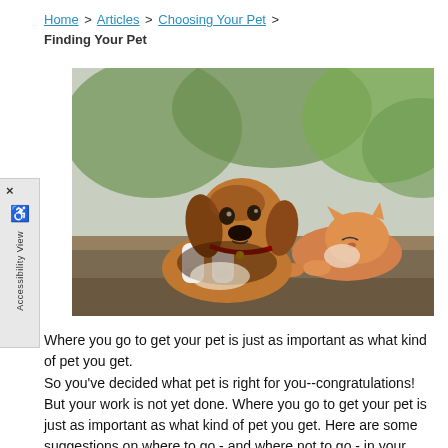Home > Articles > Choosing Your Pet > Finding Your Pet
[Figure (photo): A beagle dog resting its paws on a stone ledge next to a sleeping orange and white cat, outdoors with greenery in the background.]
Where you go to get your pet is just as important as what kind of pet you get.
So you've decided what pet is right for you--congratulations! But your work is not yet done. Where you go to get your pet is just as important as what kind of pet you get. Here are some suggestions on where to go - and where not to go - in your